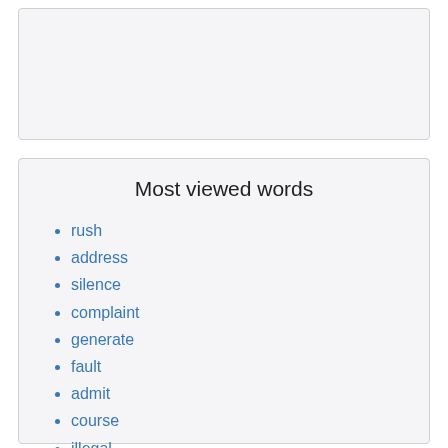Most viewed words
rush
address
silence
complaint
generate
fault
admit
course
illegal